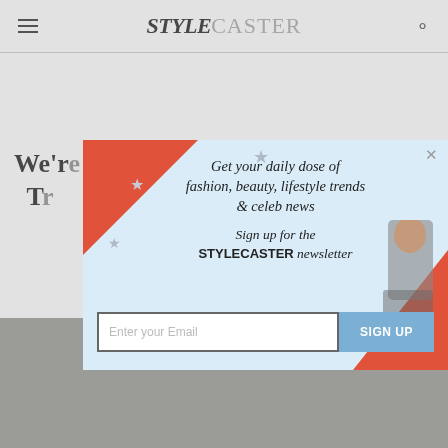STYLECASTER
We're ... The T... 22
[Figure (screenshot): StyleCaster website with newsletter signup modal overlay. Modal has light blue background with orange corner accents, stars, and a woman in plaid. Text reads: Get your daily dose of fashion, beauty, lifestyle trends & celeb news. Sign up for the STYLECASTER newsletter. Email input field and SIGN UP button. Background shows partial article title and interior design photo.]